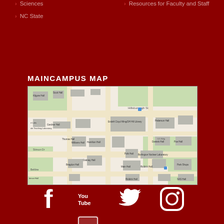Sciences
NC State
Resources for Faculty and Staff
MAINCAMPUS MAP
[Figure (map): NC State University main campus map showing buildings including Kilgore Hall, Scott Hall, Erdahl-Cloyd Wing/DH Hill Library, Gardner Hall, Patterson Hall, Thomas Hall, Williams Hall, Hamilton Hall, Dabney Hall, Polk Hall, Burlington Nuclear Laboratory, Daniels Hall, Poe Hall, Bragdon Hall, Main Hall, Riddick Hall, SAS Hall and surrounding streets including Hillsborough St, Stinson Dr]
[Figure (infographic): Social media icons: Facebook, YouTube, Twitter, Instagram]